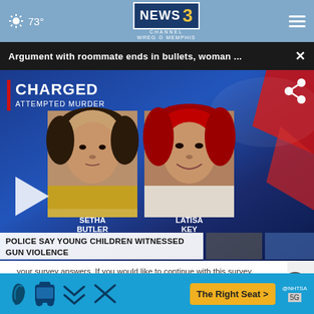73° | NEWS CHANNEL 3 WREG MEMPHIS
Argument with roommate ends in bullets, woman ... ×
[Figure (screenshot): TV news broadcast screenshot showing two mugshot photos. Left: SETHA BUTLER, Right: LATISA KEY. Overlay text reads: CHARGED ATTEMPTED MURDER. Lower third text: POLICE SAY YOUNG CHILDREN WITNESSED GUN VIOLENCE. Play button visible on left side.]
your survey answers. If you would like to continue with this survey, please read and agree to the CivicScience Privacy Policy and Terms of S...
[Figure (infographic): NHTSA advertisement banner: The Right Seat > with child car seat icons and NHTSA logo]